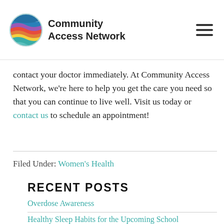Community Access Network
contact your doctor immediately. At Community Access Network, we're here to help you get the care you need so that you can continue to live well. Visit us today or contact us to schedule an appointment!
Filed Under: Women's Health
RECENT POSTS
Overdose Awareness
Healthy Sleep Habits for the Upcoming School